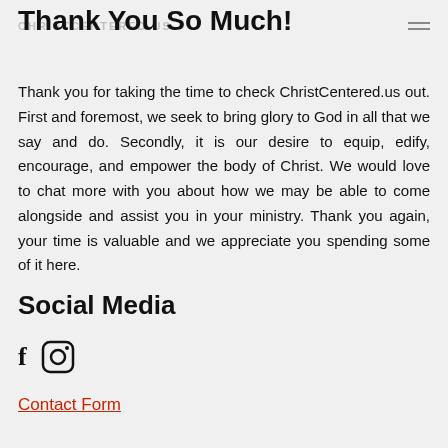CHRISTCENTERED.US
Thank You So Much!
Thank you for taking the time to check ChristCentered.us out. First and foremost, we seek to bring glory to God in all that we say and do. Secondly, it is our desire to equip, edify, encourage, and empower the body of Christ. We would love to chat more with you about how we may be able to come alongside and assist you in your ministry. Thank you again, your time is valuable and we appreciate you spending some of it here.
Social Media
[Figure (other): Facebook and Instagram social media icons]
Contact Form